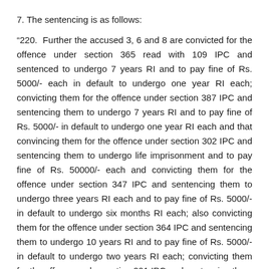7. The sentencing is as follows:
“220. Further the accused 3, 6 and 8 are convicted for the offence under section 365 read with 109 IPC and sentenced to undergo 7 years RI and to pay fine of Rs. 5000/- each in default to undergo one year RI each; convicting them for the offence under section 387 IPC and sentencing them to undergo 7 years RI and to pay fine of Rs. 5000/- in default to undergo one year RI each and that convincing them for the offence under section 302 IPC and sentencing them to undergo life imprisonment and to pay fine of Rs. 50000/- each and convicting them for the offence under section 347 IPC and sentencing them to undergo three years RI each and to pay fine of Rs. 5000/- in default to undergo six months RI each; also convicting them for the offence under section 364 IPC and sentencing them to undergo 10 years RI and to pay fine of Rs. 5000/- in default to undergo two years RI each; convicting them for the offence under section 201 IPC and sentencing them to undergo 7 years RI and to pay fine of Rs. 10000/- in default to undergo one year RI each and that the total fine amount imposed on them each Rs. 80000/- (Rupees eighty thousand only) and that it is ordered that all the sentences imposed on these accused shall run